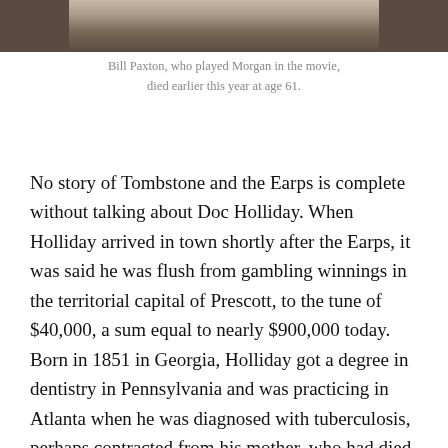[Figure (photo): Bottom portion of a photo showing a person (Bill Paxton), cropped at the top of the page]
Bill Paxton, who played Morgan in the movie, died earlier this year at age 61.
No story of Tombstone and the Earps is complete without talking about Doc Holliday. When Holliday arrived in town shortly after the Earps, it was said he was flush from gambling winnings in the territorial capital of Prescott, to the tune of $40,000, a sum equal to nearly $900,000 today. Born in 1851 in Georgia, Holliday got a degree in dentistry in Pennsylvania and was practicing in Atlanta when he was diagnosed with tuberculosis, perhaps contracted from his mother, who had died from the disease when Holliday was 15. His doctor